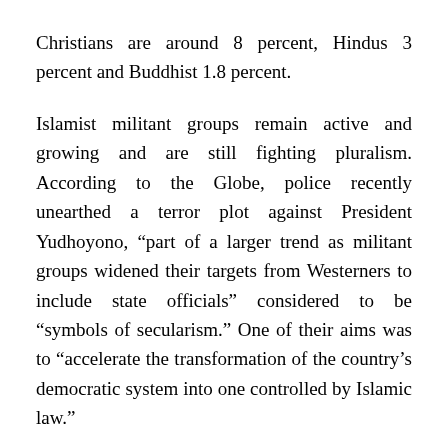Christians are around 8 percent, Hindus 3 percent and Buddhist 1.8 percent.
Islamist militant groups remain active and growing and are still fighting pluralism. According to the Globe, police recently unearthed a terror plot against President Yudhoyono, “part of a larger trend as militant groups widened their targets from Westerners to include state officials” considered to be “symbols of secularism.” One of their aims was to “accelerate the transformation of the country’s democratic system into one controlled by Islamic law.”
In 2002, over 200 people (including 164 foreigners) were killed in a terror attack by Islamist militants in Kuta town on the island of Bali. Indonesia has also fought violent Islamist insurgents, such as in Aceh Province, which now